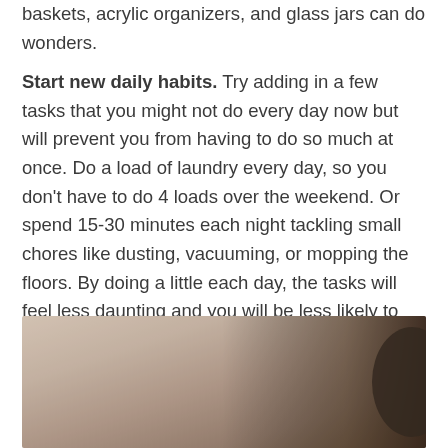baskets, acrylic organizers, and glass jars can do wonders.
Start new daily habits. Try adding in a few tasks that you might not do every day now but will prevent you from having to do so much at once. Do a load of laundry every day, so you don't have to do 4 loads over the weekend. Or spend 15-30 minutes each night tackling small chores like dusting, vacuuming, or mopping the floors. By doing a little each day, the tasks will feel less daunting and you will be less likely to procrastinate or avoid them.
[Figure (photo): A close-up photo with warm beige and brown tones, showing a blurred background with a dark rounded object visible on the right side.]